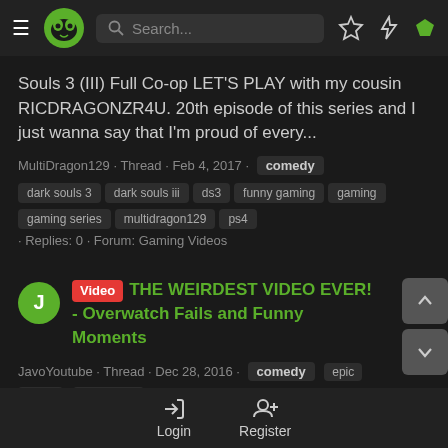Navigation header with hamburger menu, logo, search bar, and icons
Souls 3 (III) Full Co-op LET'S PLAY with my cousin RICDRAGONZR4U. 20th episode of this series and I just wanna say that I'm proud of every...
MultiDragon129 · Thread · Feb 4, 2017 · comedy dark souls 3 dark souls iii ds3 funny gaming gaming gaming series multidragon129 ps4 · Replies: 0 · Forum: Gaming Videos
Video THE WEIRDEST VIDEO EVER! - Overwatch Fails and Funny Moments
JavoYoutube · Thread · Dec 28, 2016 · comedy epic funny overwatch · Replies: 0 · Forum: Game Discussion
Login   Register